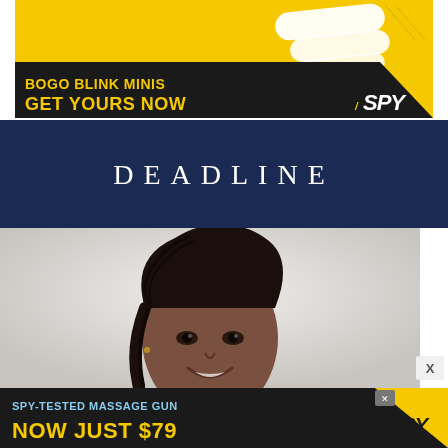[Figure (infographic): SPY advertisement banner for BOGO Blink Minis showing white smart home devices on yellow background with black angled bar containing text 'BOGO BLINK MINIS GET YOURS NOW' and SPY logo]
[Figure (logo): DEADLINE logo in white serif uppercase letters on dark navy blue background]
[Figure (photo): Portrait photo of a Black woman with braided hair pulled back, smiling, on a light background]
[Figure (infographic): SPY advertisement banner reading 'SPY-TESTED MASSAGE GUN NOW JUST $79' with yellow and black design and SPY logo, with close X button]